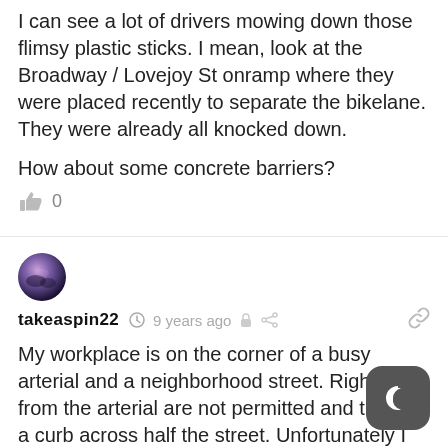I can see a lot of drivers mowing down those flimsy plastic sticks. I mean, look at the Broadway / Lovejoy St onramp where they were placed recently to separate the bikelane. They were already all knocked down.
How about some concrete barriers?
0
[Figure (photo): User avatar for takeaspin22 — circular profile photo with purple/pink tones]
takeaspin22  9 years ago
My workplace is on the corner of a busy arterial and a neighborhood street. Right turns from the arterial are not permitted and there is a curb across half the street. Unfortunately I have seen a few drivers make illegal right turns